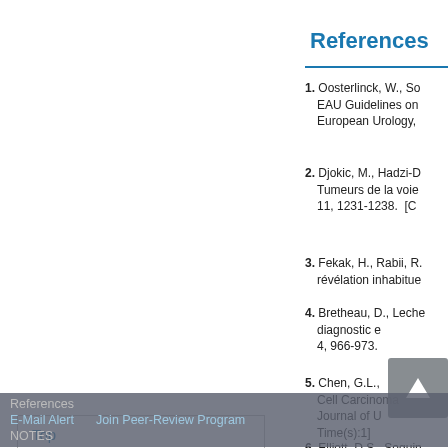References
1. Oosterlinck, W., So... EAU Guidelines on... European Urology,
2. Djokic, M., Hadzi-D... Tumeurs de la voie... 11, 1231-1238. [C
3. Fekak, H., Rabii, R.... révélation inhabitue
4. Bretheau, D., Leche... diagnostic e... 4, 966-973.
5. Chen, G.L., El-Ga... Cell Carcinoma. Th... Journal of Urology... Time(s):1]
6. Elliott, D.S., Seguin...
Top
ABSTRACT
Introduction
Case Reports
Discussions
Conclusion
References
E-Mail Alert    Join Peer-Review Program
NOTES